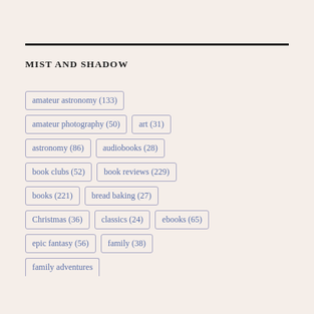MIST AND SHADOW
amateur astronomy (133)
amateur photography (50)
art (31)
astronomy (86)
audiobooks (28)
book clubs (52)
book reviews (229)
books (221)
bread baking (27)
Christmas (36)
classics (24)
ebooks (65)
epic fantasy (56)
family (38)